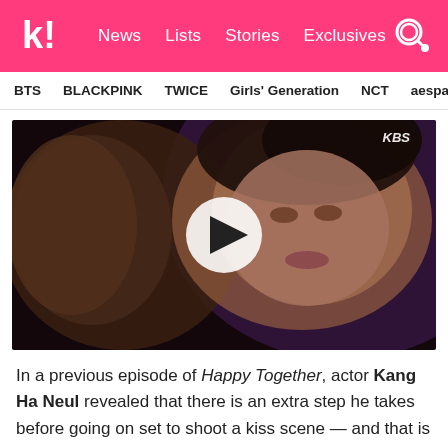Koreaboo — News | Lists | Stories | Exclusives
BTS  BLACKPINK  TWICE  Girls' Generation  NCT  aespa
[Figure (screenshot): Video thumbnail showing a woman's face in close-up from Korean drama, with KBS watermark and a play button overlay in the center.]
In a previous episode of Happy Together, actor Kang Ha Neul revealed that there is an extra step he takes before going on set to shoot a kiss scene — and that is to chew a minty gum to freshen his breath!